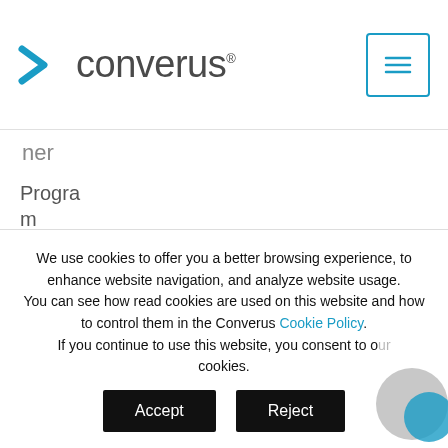converus
ner
Program Intro Partner Levels Program Benefits
We use cookies to offer you a better browsing experience, to enhance website navigation, and analyze website usage. You can see how read cookies are used on this website and how to control them in the Converus Cookie Policy. If you continue to use this website, you consent to our cookies.